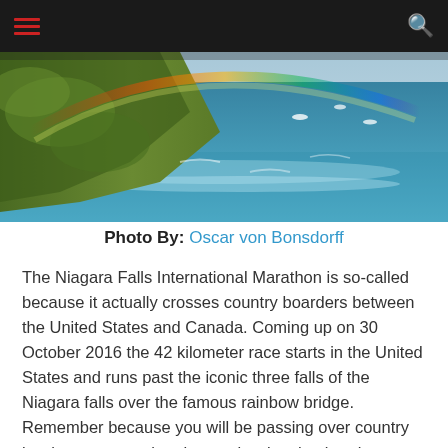[Navigation bar with hamburger menu and search icon]
[Figure (photo): Aerial photograph of a coastal cliff with green vegetation, rainbow arcing over turquoise ocean water with whitecaps and boats visible in the distance.]
Photo By: Oscar von Bonsdorff
The Niagara Falls International Marathon is so-called because it actually crosses country boarders between the United States and Canada. Coming up on 30 October 2016 the 42 kilometer race starts in the United States and runs past the iconic three falls of the Niagara falls over the famous rainbow bridge. Remember because you will be passing over country borders, you need to do your border checks when you register for the race on race-day. Meanwhile if you're looking for